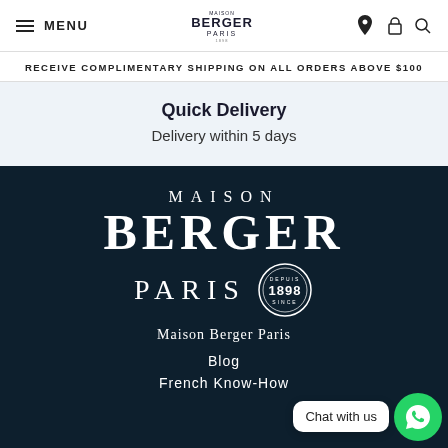MENU | Maison Berger Paris Logo | [location icon] [cart icon] [search icon]
RECEIVE COMPLIMENTARY SHIPPING ON ALL ORDERS ABOVE $100
Quick Delivery
Delivery within 5 days
[Figure (logo): Maison Berger Paris logo — MAISON / BERGER / PARIS lettering with 'DEPUIS 1898 SINCE' circular badge on dark navy background]
Maison Berger Paris
Blog
French Know-How
Chat with us